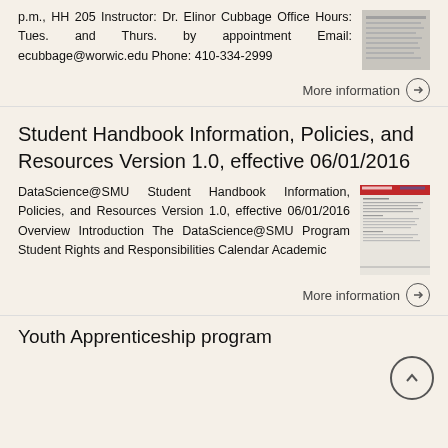p.m., HH 205 Instructor: Dr. Elinor Cubbage Office Hours: Tues. and Thurs. by appointment Email: ecubbage@worwic.edu Phone: 410-334-2999
[Figure (screenshot): Thumbnail image of a document]
More information →
Student Handbook Information, Policies, and Resources Version 1.0, effective 06/01/2016
DataScience@SMU Student Handbook Information, Policies, and Resources Version 1.0, effective 06/01/2016 Overview Introduction The DataScience@SMU Program Student Rights and Responsibilities Calendar Academic
[Figure (screenshot): Thumbnail image of the Student Handbook document]
More information →
Youth Apprenticeship program